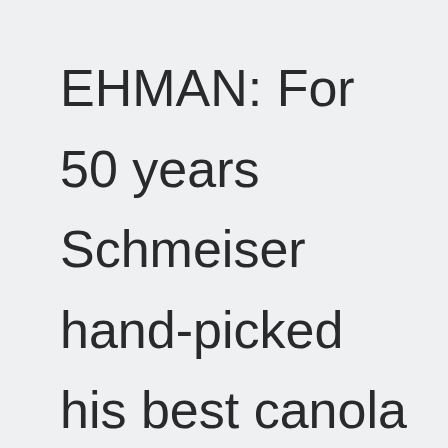EHMAN: For 50 years Schmeiser hand-picked his best canola